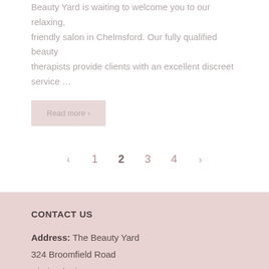Beauty Yard is waiting to welcome you to our relaxing, friendly salon in Chelmsford. Our fully qualified beauty therapists provide clients with an excellent discreet service …
Read more ›
‹ 1 2 3 4 ›
CONTACT US
Address: The Beauty Yard
324 Broomfield Road
Chelmsford, Essex
CM1 4DZ